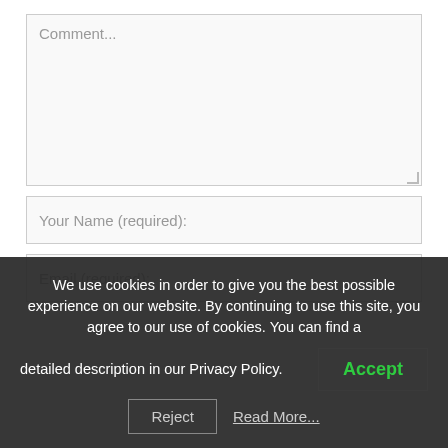Comment...
Your Name (required):
Email (required):
We use cookies in order to give you the best possible experience on our website. By continuing to use this site, you agree to our use of cookies. You can find a detailed description in our Privacy Policy.
Accept
Reject
Read More...